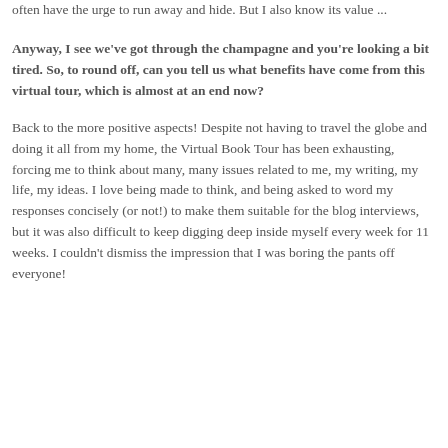often have the urge to run away and hide. But I also know its value ...
Anyway, I see we've got through the champagne and you're looking a bit tired. So, to round off, can you tell us what benefits have come from this virtual tour, which is almost at an end now?
Back to the more positive aspects! Despite not having to travel the globe and doing it all from my home, the Virtual Book Tour has been exhausting, forcing me to think about many, many issues related to me, my writing, my life, my ideas. I love being made to think, and being asked to word my responses concisely (or not!) to make them suitable for the blog interviews, but it was also difficult to keep digging deep inside myself every week for 11 weeks. I couldn't dismiss the impression that I was boring the pants off everyone!